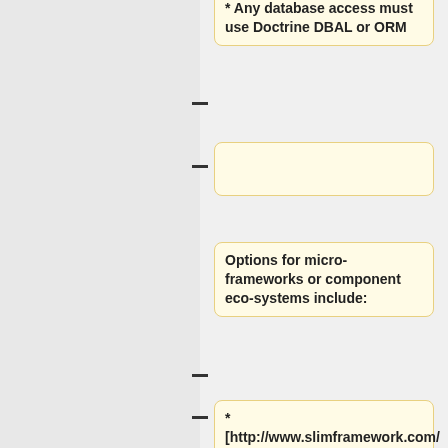* Any database access must use Doctrine DBAL or ORM
Options for micro-frameworks or component eco-systems include:
* [http://www.slimframework.com/ Slim] - PSR7 based with minimal features, requires integrating